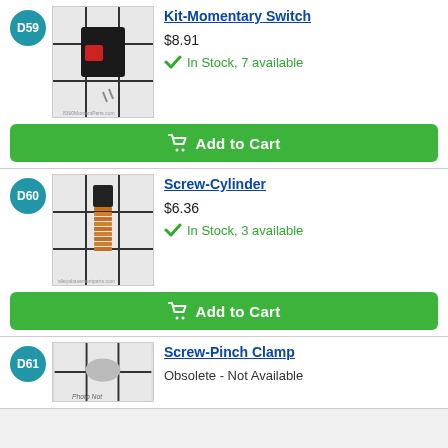[Figure (photo): Product image of Kit-Momentary Switch on grid background]
Kit-Momentary Switch
$8.91
In Stock, 7 available
Add to Cart
[Figure (photo): Product image of Screw-Cylinder on grid background]
Screw-Cylinder
$6.36
In Stock, 3 available
Add to Cart
[Figure (photo): Product image of Screw-Pinch Clamp, photo not available]
Screw-Pinch Clamp
Obsolete - Not Available